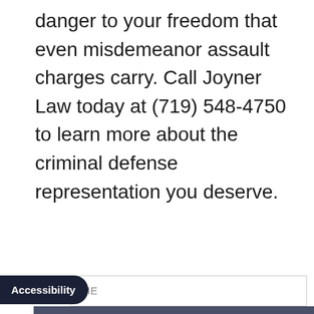danger to your freedom that even misdemeanor assault charges carry. Call Joyner Law today at (719) 548-4750 to learn more about the criminal defense representation you deserve.
[Figure (infographic): Dark blue-grey banner with bold white text reading 'Free In-Depth', subtitle 'No Obligation Case Evaluation', decorative mountain logo with horizontal divider lines, and a NAME input field at the bottom.]
Accessibility